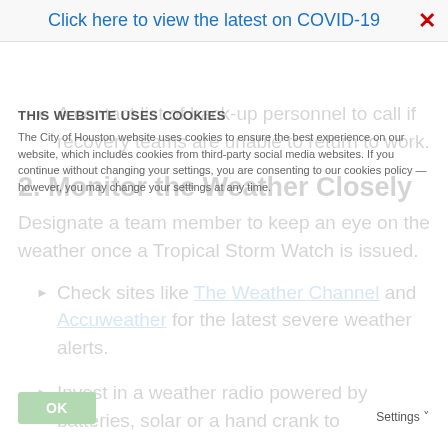Click here to view the latest on COVID-19
A contact list of back-up personnel to call if recovery teams are unable to return to work.
2. Monitor the Weather Closely
Designate a team member to keep an eye on the weather once a Tropical Storm Watch is issued.
Check sites like The Weather Channel and Accuweather for the latest severe weather alerts.
Invest in a weather radio powered by batteries, solar or a hand crank to